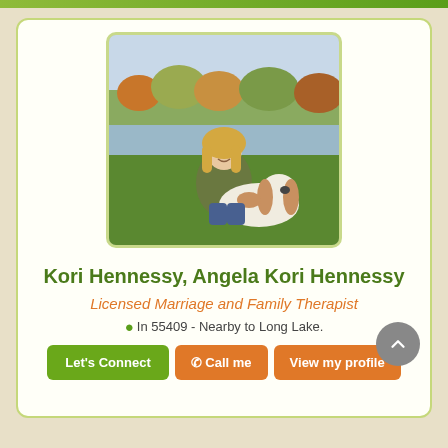[Figure (photo): Woman with blonde hair kneeling beside a basset hound dog near a lake with autumn foliage in the background]
Kori Hennessy, Angela Kori Hennessy
Licensed Marriage and Family Therapist
In 55409 - Nearby to Long Lake.
Let's Connect
Call me
View my profile